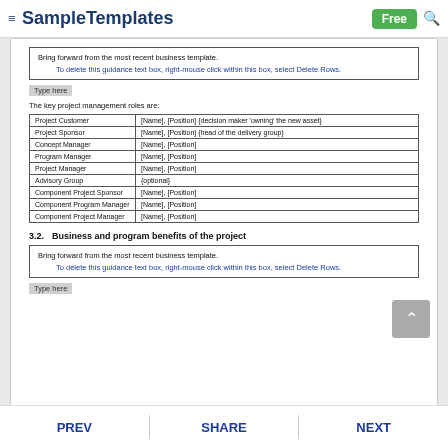≡ SampleTemplates  Free 🔍
Bring forward from the most recent business template.
To delete this guidance text box, right-mouse click within this box, select Delete Rows.
Type here
The key project management roles are:
|  |  |
| --- | --- |
| Project Customer | [Name], [Position] {decision maker 'owning' the new asset} |
| Project Sponsor | [Name], [Position] {head of the delivery group} |
| Concept Manager | [Name], [Position] |
| Program Manager | [Name], [Position] |
| Project Manager | [Name], [Position] |
| Advisory Group | {optional} |
| Component Project Sponsor | [Name], [Position] |
| Component Program Manager | [Name], [Position] |
| Component Project Manager | [Name], [Position] |
3.2.   Business and program benefits of the project
Bring forward from the most recent business template.
To delete this guidance text box, right-mouse click within this box, select Delete Rows.
Type here
PREV   SHARE   NEXT